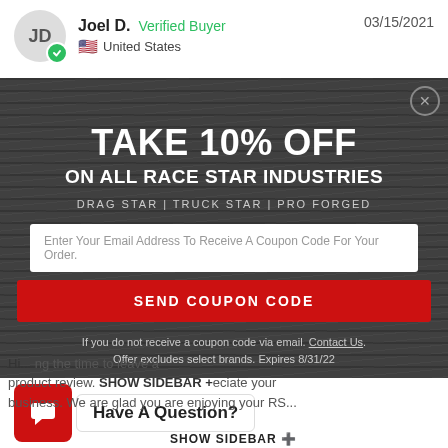Joel D.  Verified Buyer  03/15/2021  United States
[Figure (screenshot): Popup modal with dark wood-texture background offering 10% off on all Race Star Industries products. Contains headline 'TAKE 10% OFF', subtitle 'ON ALL RACE STAR INDUSTRIES', product line text 'DRAG STAR | TRUCK STAR | PRO FORGED', email input field, red SEND COUPON CODE button, fine print about contact and expiry, and Close Popup link.]
Have A Question?
SHOW SIDEBAR +
Hi... ng the time to leave a product review. ...eciate your business. We are glad you are enjoying your RS...